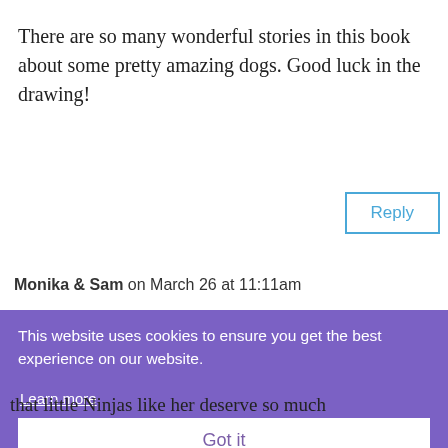There are so many wonderful stories in this book about some pretty amazing dogs. Good luck in the drawing!
Reply
Monika & Sam on March 26 at 11:11am
[Figure (screenshot): Cookie consent overlay banner with purple background. Text reads: 'This website uses cookies to ensure you get the best experience on our website.' with a 'Learn more' link and a 'Got it' button.]
that little Ninjas like her deserve so much